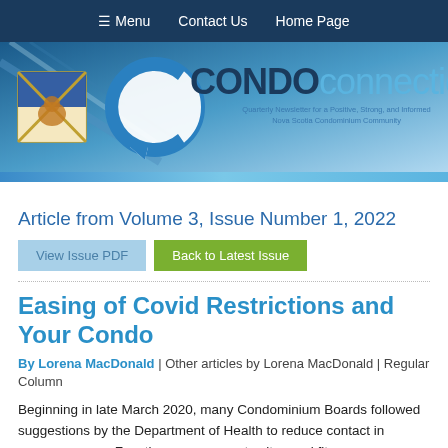≡ Menu   Contact Us   Home Page
[Figure (logo): Condo Connection newsletter logo with Nova Scotia flag imagery and circular C logo. Text reads CONDO connection. Tagline: Quarterly Newsletter for a Positive, Strong, and Informed Nova Scotia Condominium Community.]
Article from Volume 3, Issue Number 1, 2022
View Issue PDF | Back to Latest Issue
Easing of Covid Restrictions and Your Condo
By Lorena MacDonald | Other articles by Lorena MacDonald | Regular Column
Beginning in late March 2020, many Condominium Boards followed suggestions by the Department of Health to reduce contact in common areas. Function rooms, guest suites and fitness rooms were closed in most corporations. Social distancing signs for elevators and masks